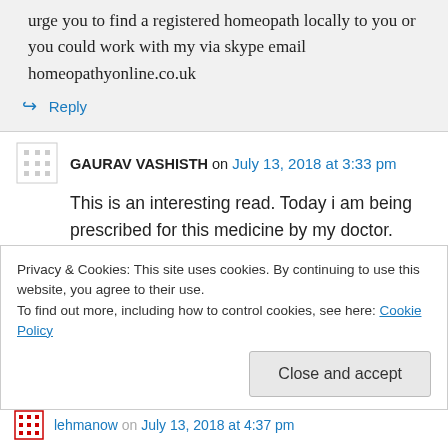urge you to find a registered homeopath locally to you or you could work with my via skype email homeopathyonline.co.uk
↳ Reply
GAURAV VASHISTH on July 13, 2018 at 3:33 pm
This is an interesting read. Today i am being prescribed for this medicine by my doctor.
Its been almost 2 3 years without a perfect cure
Privacy & Cookies: This site uses cookies. By continuing to use this website, you agree to their use.
To find out more, including how to control cookies, see here: Cookie Policy
Close and accept
lehmanow on July 13, 2018 at 4:37 pm